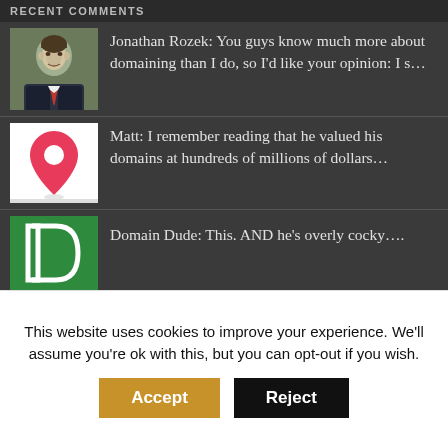RECENT COMMENTS
Jonathan Rozek: You guys know much more about domaining than I do, so I’d like your opinion: I s…
Matt: I remember reading that he valued his domains at hundreds of millions of dollars…
Domain Dude: This. AND he’s overly cocky….
K.J.Haroon Basha: Revenue from Godaddy parking will be negligible. Bodis is generous in sharing re…
K.J.Haroon Basha: Revenue from Godaddy parking will be negligible. Bodis is generous in Sele and G…
This website uses cookies to improve your experience. We’ll assume you’re ok with this, but you can opt-out if you wish.
Accept  Reject